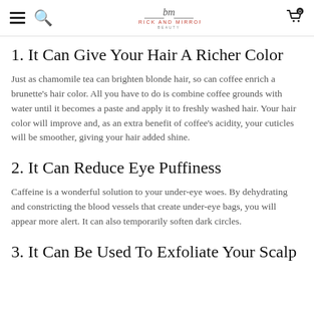Brick and Mirror Beauty — navigation header
1. It Can Give Your Hair A Richer Color
Just as chamomile tea can brighten blonde hair, so can coffee enrich a brunette's hair color. All you have to do is combine coffee grounds with water until it becomes a paste and apply it to freshly washed hair. Your hair color will improve and, as an extra benefit of coffee's acidity, your cuticles will be smoother, giving your hair added shine.
2. It Can Reduce Eye Puffiness
Caffeine is a wonderful solution to your under-eye woes. By dehydrating and constricting the blood vessels that create under-eye bags, you will appear more alert. It can also temporarily soften dark circles.
3. It Can Be Used To Exfoliate Your Scalp